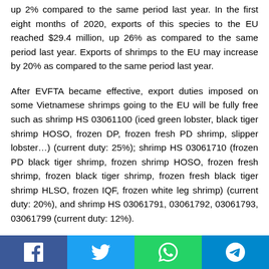up 2% compared to the same period last year. In the first eight months of 2020, exports of this species to the EU reached $29.4 million, up 26% as compared to the same period last year. Exports of shrimps to the EU may increase by 20% as compared to the same period last year.
After EVFTA became effective, export duties imposed on some Vietnamese shrimps going to the EU will be fully free such as shrimp HS 03061100 (iced green lobster, black tiger shrimp HOSO, frozen DP, frozen fresh PD shrimp, slipper lobster…) (current duty: 25%); shrimp HS 03061710 (frozen PD black tiger shrimp, frozen shrimp HOSO, frozen fresh shrimp, frozen black tiger shrimp, frozen fresh black tiger shrimp HLSO, frozen IQF, frozen white leg shrimp) (current duty: 20%), and shrimp HS 03061791, 03061792, 03061793, 03061799 (current duty: 12%).
[Figure (infographic): Social media share buttons bar at the bottom: Facebook (blue), Twitter (light blue), WhatsApp (green), Telegram (dark blue)]